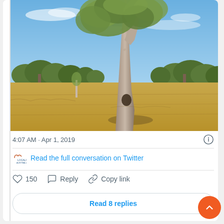[Figure (photo): A large eucalyptus tree with white bark standing in a dry golden grassy field under a blue sky with light clouds. Background shows a treeline of gum trees.]
4:07 AM · Apr 1, 2019
Read the full conversation on Twitter
150  Reply  Copy link
Read 8 replies